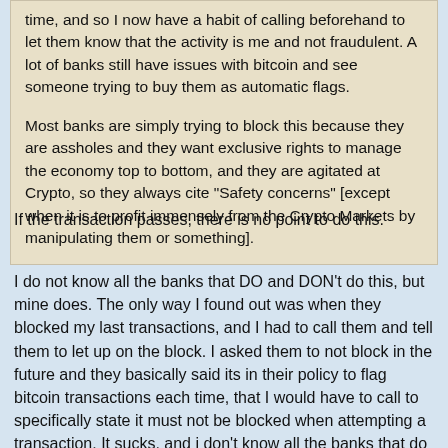time, and so I now have a habit of calling beforehand to let them know that the activity is me and not fraudulent. A lot of banks still have issues with bitcoin and see someone trying to buy them as automatic flags.
Most banks are simply trying to block this because they are assholes and they want exclusive rights to manage the economy top to bottom, and they are agitated at Crypto, so they always cite "Safety concerns" [except when it is to profit immensely from the Crypto Markets by manipulating them or something].
If the transaction passes, there is no point to do this.
I do not know all the banks that DO and DON't do this, but mine does. The only way I found out was when they blocked my last transactions, and I had to call them and tell them to let up on the block. I asked them to not block in the future and they basically said its in their policy to flag bitcoin transactions each time, that I would have to call to specifically state it must not be blocked when attempting a transaction. It sucks, and i don't know all the banks that do this, But my theory is if someone attempts a transaction, and their bank blocks it just because its bitcoin, then